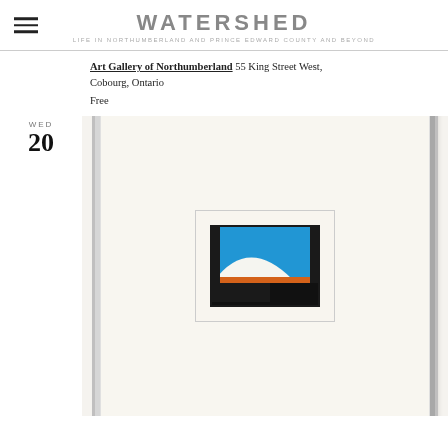WATERSHED
Art Gallery of Northumberland 55 King Street West, Cobourg, Ontario
Free
WED 20
[Figure (photo): A small framed abstract artwork in a silver frame with wide cream mat. The artwork shows a blue sky-like upper section with a white curved arc, an orange horizontal band, and dark black angular shapes forming a geometric composition.]